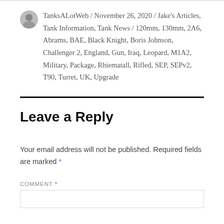TanksALotWeb / November 26, 2020 / Jake's Articles, Tank Information, Tank News / 120mm, 130mm, 2A6, Abrams, BAE, Black Knight, Boris Johnson, Challenger 2, England, Gun, Iraq, Leopard, M1A2, Military, Package, Rhiematall, Rifled, SEP, SEPv2, T90, Turret, UK, Upgrade
Leave a Reply
Your email address will not be published. Required fields are marked *
COMMENT *